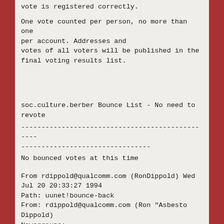vote is registered correctly.
One vote counted per person, no more than one per account. Addresses and votes of all voters will be published in the final voting results list.
soc.culture.berber Bounce List - No need to revote
--------------------------------------------------------------------------------
No bounced votes at this time
From rdippold@qualcomm.com (RonDippold) Wed Jul 20 20:33:27 1994
Path: uunet!bounce-back
From: rdippold@qualcomm.com (Ron "Asbesto Dippold)
Newsgroups: